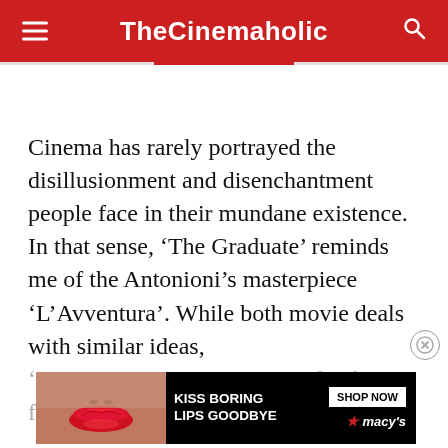TheCinemaholic
Cinema has rarely portrayed the disillusionment and disenchantment people face in their mundane existence. In that sense, ‘The Graduate’ reminds me of the Antonioni’s masterpiece ‘L’Avventura’. While both movie deals with similar ideas,
‘L’Avventura’ manages to evoke the feeling of desperation and
[Figure (other): Macy's advertisement banner reading 'KISS BORING LIPS GOODBYE' with a SHOP NOW button and Macy's star logo, showing a close-up photo of a woman's lips with red lipstick.]
unchanged, the animation that turned
is devoid of emotions, the plot